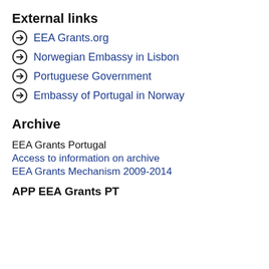External links
EEA Grants.org
Norwegian Embassy in Lisbon
Portuguese Government
Embassy of Portugal in Norway
Archive
EEA Grants Portugal
Access to information on archive
EEA Grants Mechanism 2009-2014
APP EEA Grants PT